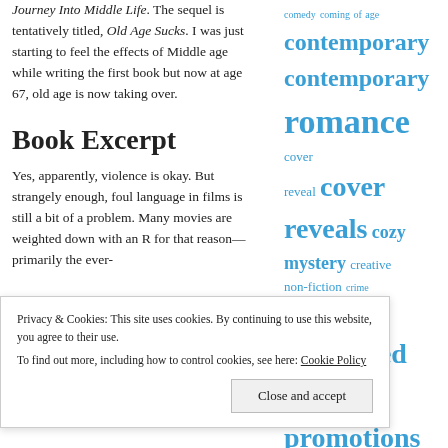Journey Into Middle Life. The sequel is tentatively titled, Old Age Sucks. I was just starting to feel the effects of Middle age while writing the first book but now at age 67, old age is now taking over.
Book Excerpt
Yes, apparently, violence is okay. But strangely enough, foul language in films is still a bit of a problem. Many movies are weighted down with an R for that reason—primarily the ever-
amazon book comedy coming of age contemporary contemporary romance cover reveal cover reveals cozy mystery creative non-fiction crime dystopian enchanted book promotions erotic erotica erotic romance fantasy
Privacy & Cookies: This site uses cookies. By continuing to use this website, you agree to their use.
To find out more, including how to control cookies, see here: Cookie Policy
Close and accept